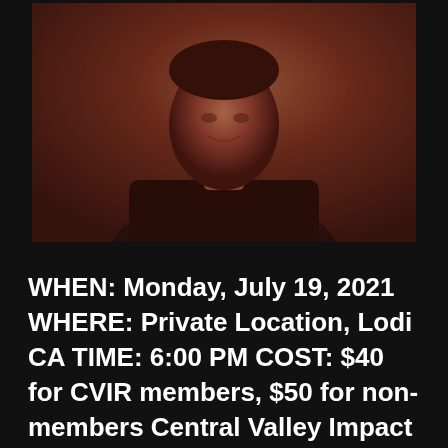[Figure (photo): Portrait photo of a smiling young man in a dark plaid shirt, with a warm reddish-brown tinted filter overlay. Dark/blurred outdoor background.]
WHEN: Monday, July 19, 2021 WHERE: Private Location, Lodi CA TIME: 6:00 PM COST: $40 for CVIR members, $50 for non-members Central Valley Impact Republicans is